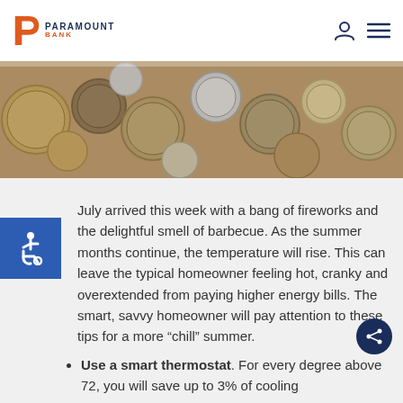[Figure (logo): Paramount Bank logo with stylized P in orange and blue text]
[Figure (photo): Close-up photograph of various coins (pennies, nickels, dimes, quarters) piled together]
July arrived this week with a bang of fireworks and the delightful smell of barbecue. As the summer months continue, the temperature will rise. This can leave the typical homeowner feeling hot, cranky and overextended from paying higher energy bills. The smart, savvy homeowner will pay attention to these tips for a more “chill” summer.
Use a smart thermostat. For every degree above 72, you will save up to 3% of cooling